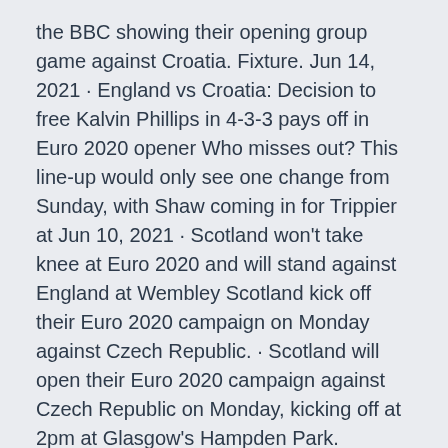the BBC showing their opening group game against Croatia. Fixture. Jun 14, 2021 · England vs Croatia: Decision to free Kalvin Phillips in 4-3-3 pays off in Euro 2020 opener Who misses out? This line-up would only see one change from Sunday, with Shaw coming in for Trippier at Jun 10, 2021 · Scotland won't take knee at Euro 2020 and will stand against England at Wembley Scotland kick off their Euro 2020 campaign on Monday against Czech Republic. · Scotland will open their Euro 2020 campaign against Czech Republic on Monday, kicking off at 2pm at Glasgow's Hampden Park.